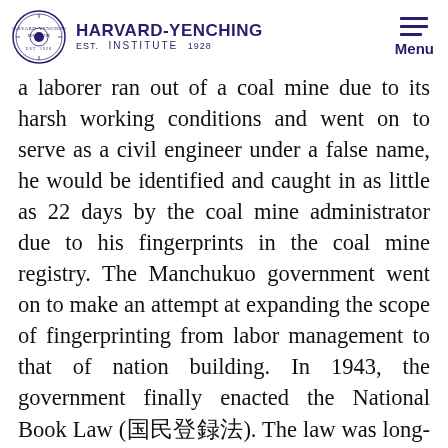HARVARD-YENCHING INSTITUTE EST. 1928
a laborer ran out of a coal mine due to its harsh working conditions and went on to serve as a civil engineer under a false name, he would be identified and caught in as little as 22 days by the coal mine administrator due to his fingerprints in the coal mine registry. The Manchukuo government went on to make an attempt at expanding the scope of fingerprinting from labor management to that of nation building. In 1943, the government finally enacted the National Book Law (国民登録法). The law was long-awaited because the national books would include fingerprint information on most of the population. However, distribution of such books